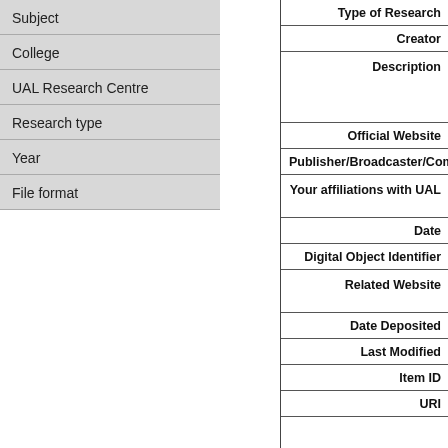| Subject |
| College |
| UAL Research Centre |
| Research type |
| Year |
| File format |
| Type of Research |
| Creator |
| Description |
| Official Website |
| Publisher/Broadcaster/Company |
| Your affiliations with UAL |
| Date |
| Digital Object Identifier |
| Related Website |
| Date Deposited |
| Last Modified |
| Item ID |
| URI |